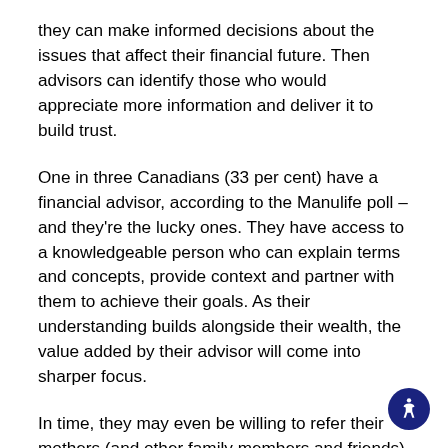they can make informed decisions about the issues that affect their financial future. Then advisors can identify those who would appreciate more information and deliver it to build trust.
One in three Canadians (33 per cent) have a financial advisor, according to the Manulife poll – and they're the lucky ones. They have access to a knowledgeable person who can explain terms and concepts, provide context and partner with them to achieve their goals. As their understanding builds alongside their wealth, the value added by their advisor will come into sharper focus.
In time, they may even be willing to refer their mothers (and other family members and friends) to you. In that way, clearing up client confusion can very directly expand your client base and grow your business. See more about this consumer